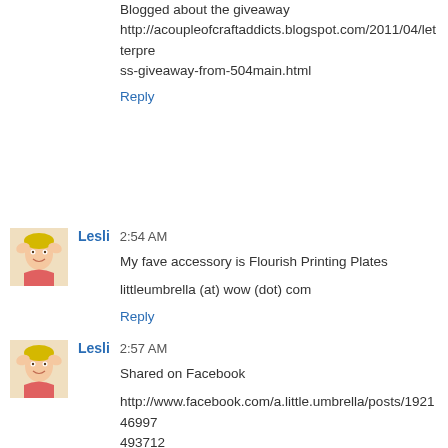Blogged about the giveaway http://acoupleofcraftaddicts.blogspot.com/2011/04/letterpress-giveaway-from-504main.html
Reply
[Figure (photo): Avatar photo of user Lesli - woman with hands on head]
Lesli  2:54 AM
My fave accessory is Flourish Printing Plates

littleumbrella (at) wow (dot) com
Reply
[Figure (photo): Avatar photo of user Lesli - woman with hands on head]
Lesli  2:57 AM
Shared on Facebook

http://www.facebook.com/a.little.umbrella/posts/192146997493712

littleumbrella (at) wow (dot) com
Reply